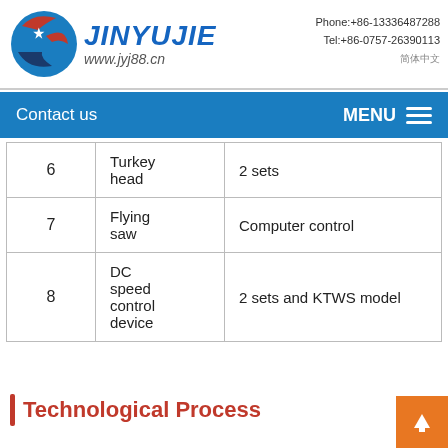JINYUJIE www.jyj88.cn Phone:+86-13336487288 Tel:+86-0757-26390113
| # | Name | Specification |
| --- | --- | --- |
| 6 | Turkey head | 2 sets |
| 7 | Flying saw | Computer control |
| 8 | DC speed control device | 2 sets and KTWS model |
Technological Process